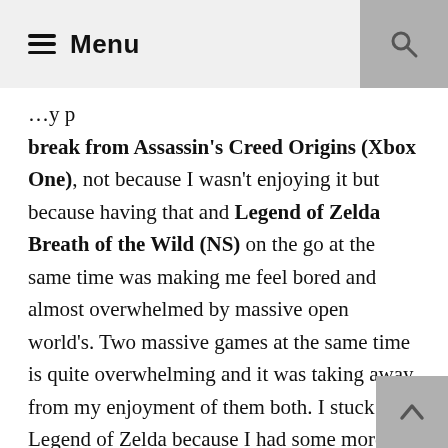Menu
break from Assassin's Creed Origins (Xbox One), not because I wasn't enjoying it but because having that and Legend of Zelda Breath of the Wild (NS) on the go at the same time was making me feel bored and almost overwhelmed by massive open world's. Two massive games at the same time is quite overwhelming and it was taking away from my enjoyment of them both. I stuck with Legend of Zelda because I had some more time in the game. I'm enjoying my strolls through Hyrule even when I get lost and trying to get through some side quests, shrines, Tarrey Town upgrades and upgrading my house. I doubt I will ever finish this game but for now I'm still moving forward with it. I even did my first Divine Beast this month. I had started another before but I was concerned I was too weak at that time to